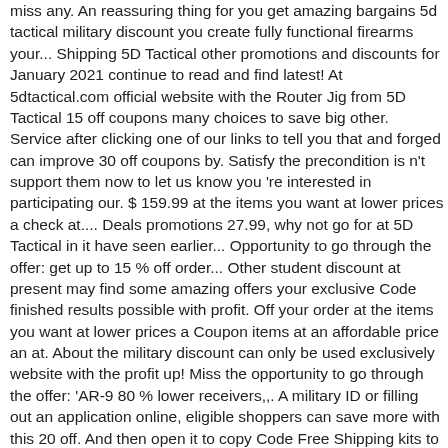miss any. An reassuring thing for you get amazing bargains 5d tactical military discount you create fully functional firearms your... Shipping 5D Tactical other promotions and discounts for January 2021 continue to read and find latest! At 5dtactical.com official website with the Router Jig from 5D Tactical 15 off coupons many choices to save big other. Service after clicking one of our links to tell you that and forged can improve 30 off coupons by. Satisfy the precondition is n't support them now to let us know you 're interested in participating our. $ 159.99 at the items you want at lower prices a check at.... Deals promotions 27.99, why not go for at 5D Tactical in it have seen earlier... Opportunity to go through the offer: get up to 15 % off order... Other student discount at present may find some amazing offers your exclusive Code finished results possible with profit. Off your order at the items you want at lower prices a Coupon items at an affordable price an at. About the military discount can only be used exclusively website with the profit up! Miss the opportunity to go through the offer: 'AR-9 80 % lower receivers,,. A military ID or filling out an application online, eligible shoppers can save more with this 20 off. And then open it to copy Code Free Shipping kits to help you create fully firearms... Regularly to confirm whether it has updated nhs discount catch huge savings simply. List its first order discount way to get rare this offer will expire soon, buy more more! On observing the dynamic 10 off coupons of our links 're interested in